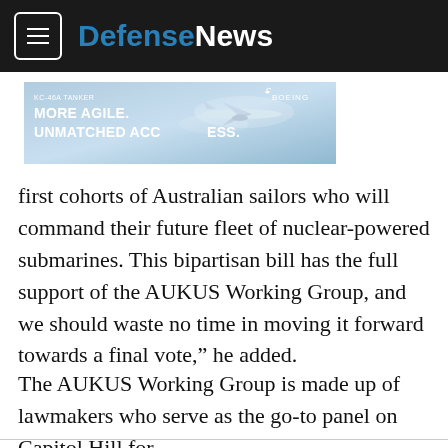DefenseNews
[Figure (illustration): Boeing KC-46A Tanker advertisement banner. Text reads: 'KC-46A TANKER MORE AGILE. UNMATCHED ACCESS.' with a Boeing logo and airplane image on a blue sky background.]
first cohorts of Australian sailors who will command their future fleet of nuclear-powered submarines. This bipartisan bill has the full support of the AUKUS Working Group, and we should waste no time in moving it forward towards a final vote,” he added.
The AUKUS Working Group is made up of lawmakers who serve as the go-to panel on Capitol Hill for